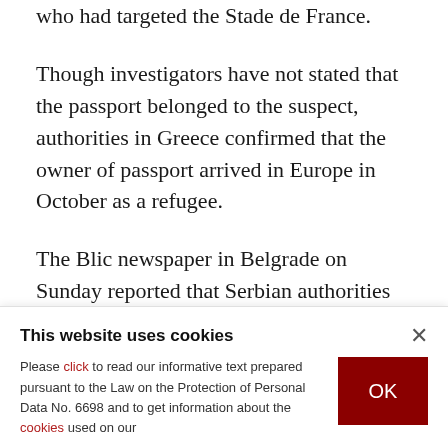who had targeted the Stade de France.
Though investigators have not stated that the passport belonged to the suspect, authorities in Greece confirmed that the owner of passport arrived in Europe in October as a refugee.
The Blic newspaper in Belgrade on Sunday reported that Serbian authorities had records of the man named in the passport, identified as Ahmad
This website uses cookies

Please click to read our informative text prepared pursuant to the Law on the Protection of Personal Data No. 6698 and to get information about the cookies used on our